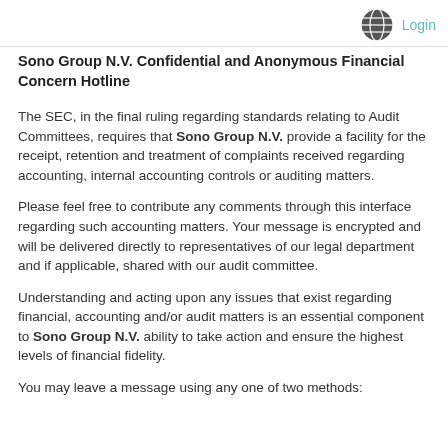Login
Sono Group N.V. Confidential and Anonymous Financial Concern Hotline
The SEC, in the final ruling regarding standards relating to Audit Committees, requires that Sono Group N.V. provide a facility for the receipt, retention and treatment of complaints received regarding accounting, internal accounting controls or auditing matters.
Please feel free to contribute any comments through this interface regarding such accounting matters. Your message is encrypted and will be delivered directly to representatives of our legal department and if applicable, shared with our audit committee.
Understanding and acting upon any issues that exist regarding financial, accounting and/or audit matters is an essential component to Sono Group N.V. ability to take action and ensure the highest levels of financial fidelity.
You may leave a message using any one of two methods: